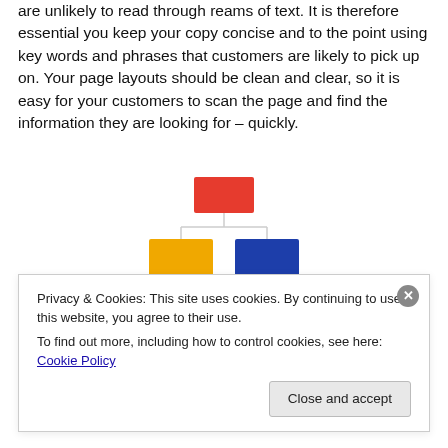are unlikely to read through reams of text. It is therefore essential you keep your copy concise and to the point using key words and phrases that customers are likely to pick up on. Your page layouts should be clean and clear, so it is easy for your customers to scan the page and find the information they are looking for – quickly.
[Figure (organizational-chart): A colorful hierarchical organizational chart with colored boxes: red at top, yellow and blue in the middle row, green, grey, and red at the bottom row, connected by lines.]
Privacy & Cookies: This site uses cookies. By continuing to use this website, you agree to their use.
To find out more, including how to control cookies, see here: Cookie Policy